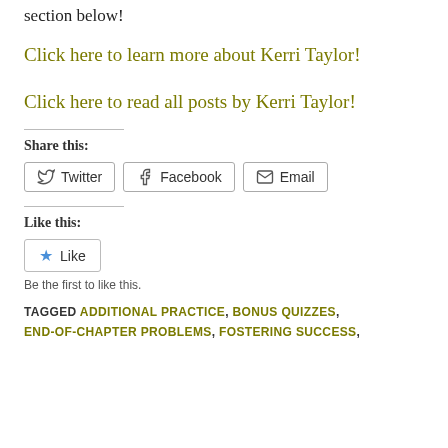section below!
Click here to learn more about Kerri Taylor!
Click here to read all posts by Kerri Taylor!
Share this:
Twitter  Facebook  Email
Like this:
Like
Be the first to like this.
TAGGED ADDITIONAL PRACTICE, BONUS QUIZZES, END-OF-CHAPTER PROBLEMS, FOSTERING SUCCESS,